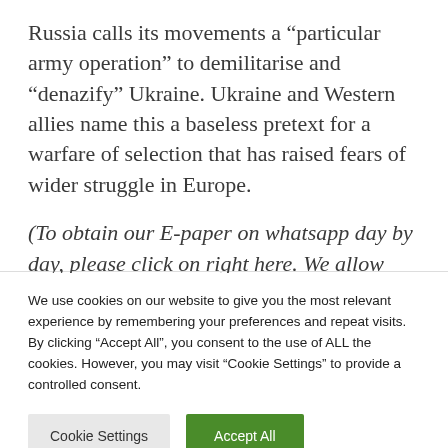Russia calls its movements a “particular army operation” to demilitarise and “denazify” Ukraine. Ukraine and Western allies name this a baseless pretext for a warfare of selection that has raised fears of wider struggle in Europe.
(To obtain our E-paper on whatsapp day by day, please click on right here. We allow
We use cookies on our website to give you the most relevant experience by remembering your preferences and repeat visits. By clicking “Accept All”, you consent to the use of ALL the cookies. However, you may visit “Cookie Settings” to provide a controlled consent.